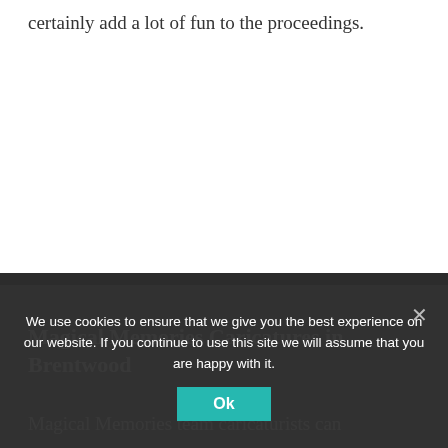certainly add a lot of fun to the proceedings.
Magical Memories Caricatures in Brentwood
Magical Memories team caricaturists can
We use cookies to ensure that we give you the best experience on our website. If you continue to use this site we will assume that you are happy with it.